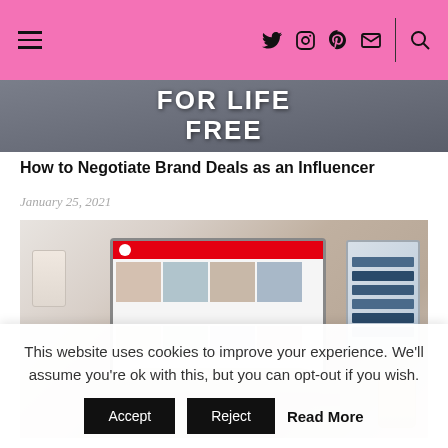Navigation bar with hamburger menu, social icons (Twitter, Instagram, Pinterest, Mail), search icon
[Figure (photo): Cropped top of a blog article image showing a person in a dark t-shirt with text 'FOR LIFE FREE']
How to Negotiate Brand Deals as an Influencer
January 25, 2021
[Figure (photo): Person typing on a rose gold MacBook laptop at a desk, with a coffee drink and books in background, Pinterest visible on screen]
This website uses cookies to improve your experience. We'll assume you're ok with this, but you can opt-out if you wish.
Accept   Reject   Read More